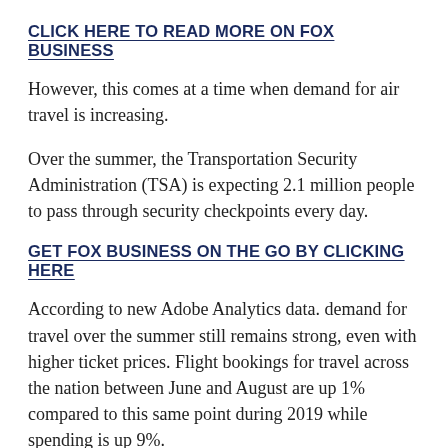CLICK HERE TO READ MORE ON FOX BUSINESS
However, this comes at a time when demand for air travel is increasing.
Over the summer, the Transportation Security Administration (TSA) is expecting 2.1 million people to pass through security checkpoints every day.
GET FOX BUSINESS ON THE GO BY CLICKING HERE
According to new Adobe Analytics data. demand for travel over the summer still remains strong, even with higher ticket prices. Flight bookings for travel across the nation between June and August are up 1% compared to this same point during 2019 while spending is up 9%.